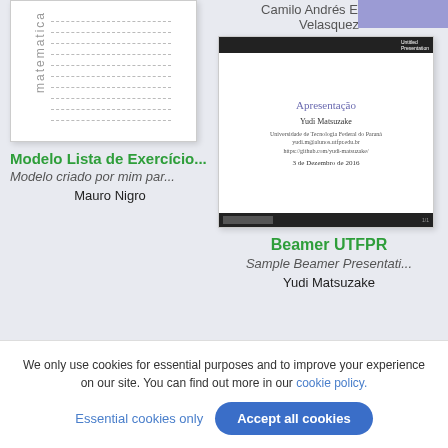[Figure (screenshot): Thumbnail of a math exercise list document with watermark text 'matematica' and dashed lines]
Modelo Lista de Exercício...
Modelo criado por mim par...
Mauro Nigro
Camilo Andrés Escobar Velasquez
[Figure (screenshot): Thumbnail of Beamer UTFPR presentation slide showing title 'Apresentação', author Yudi Matsuzake, institution Universidade de Tecnologia Federal do Paraná, date 3 de Dezembro de 2016]
Beamer UTFPR
Sample Beamer Presentati...
Yudi Matsuzake
We only use cookies for essential purposes and to improve your experience on our site. You can find out more in our cookie policy.
Essential cookies only
Accept all cookies